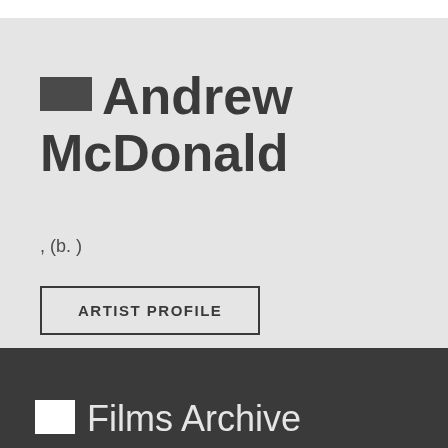Andrew McDonald
, (b. )
ARTIST PROFILE
Films Archive